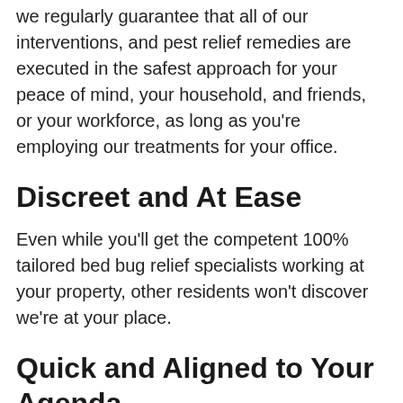we regularly guarantee that all of our interventions, and pest relief remedies are executed in the safest approach for your peace of mind, your household, and friends, or your workforce, as long as you're employing our treatments for your office.
Discreet and At Ease
Even while you'll get the competent 100% tailored bed bug relief specialists working at your property, other residents won't discover we're at your place.
Quick and Aligned to Your Agenda